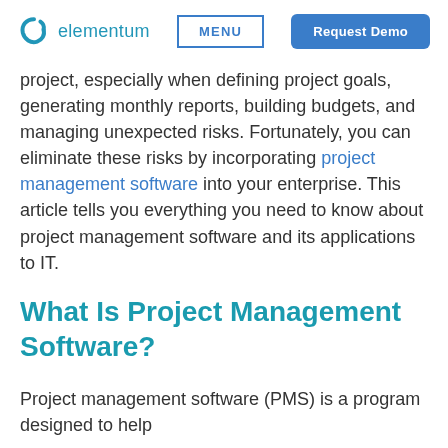elementum | MENU | Request Demo
project, especially when defining project goals, generating monthly reports, building budgets, and managing unexpected risks. Fortunately, you can eliminate these risks by incorporating project management software into your enterprise. This article tells you everything you need to know about project management software and its applications to IT.
What Is Project Management Software?
Project management software (PMS) is a program designed to help...